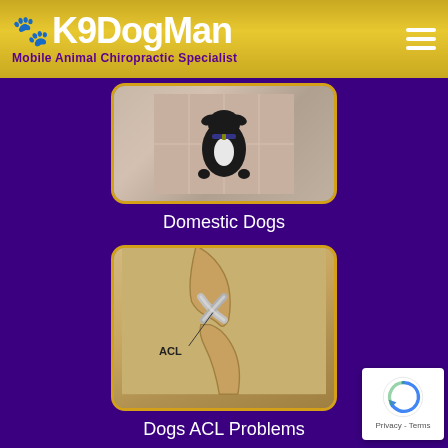K9DogMan - Mobile Animal Chiropractic Specialist
[Figure (photo): Top-down photo of a black and white dog sitting on a tiled floor, with a gold-bordered rounded rectangle frame]
Domestic Dogs
[Figure (illustration): Medical illustration of a dog knee joint showing the ACL (anterior cruciate ligament) labeled with an arrow, with gold-bordered rounded rectangle frame]
Dogs ACL Problems
[Figure (photo): Partial view of a third card image at bottom of page, partially cut off]